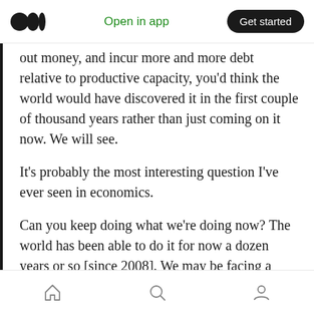Open in app | Get started
out money, and incur more and more debt relative to productive capacity, you'd think the world would have discovered it in the first couple of thousand years rather than just coming on it now. We will see.
It's probably the most interesting question I've ever seen in economics.
Can you keep doing what we're doing now? The world has been able to do it for now a dozen years or so [since 2008]. We may be facing a period where we're testing that hypothesis that
Home | Search | Profile